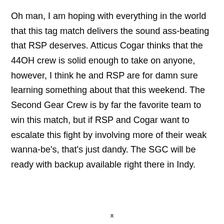Oh man, I am hoping with everything in the world that this tag match delivers the sound ass-beating that RSP deserves. Atticus Cogar thinks that the 44OH crew is solid enough to take on anyone, however, I think he and RSP are for damn sure learning something about that this weekend. The Second Gear Crew is by far the favorite team to win this match, but if RSP and Cogar want to escalate this fight by involving more of their weak wanna-be's, that's just dandy. The SGC will be ready with backup available right there in Indy.
x